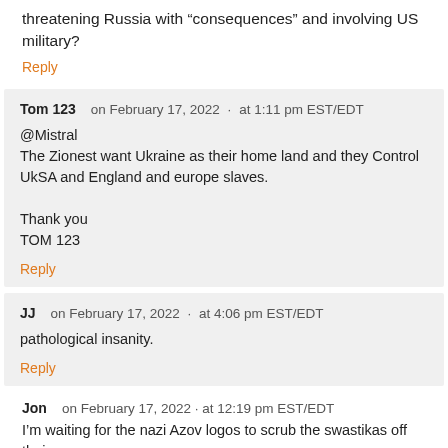threatening Russia with “consequences” and involving US military?
Reply
Tom 123  on February 17, 2022  ·  at 1:11 pm EST/EDT
@Mistral
The Zionest want Ukraine as their home land and they Control UkSA and England and europe slaves.

Thank you
TOM 123
Reply
JJ  on February 17, 2022  ·  at 4:06 pm EST/EDT
pathological insanity.
Reply
Jon  on February 17, 2022  ·  at 12:19 pm EST/EDT
I’m waiting for the nazi Azov logos to scrub the swastikas off their